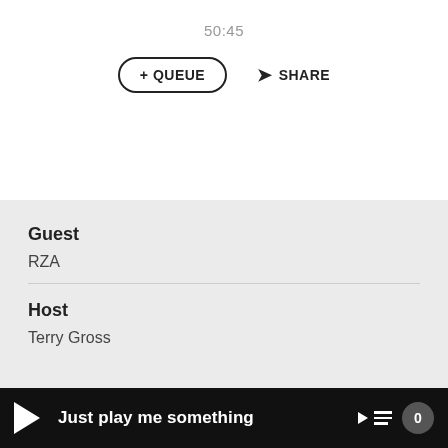50:45
+ QUEUE
SHARE
Guest
RZA
Host
Terry Gross
Just play me something  0